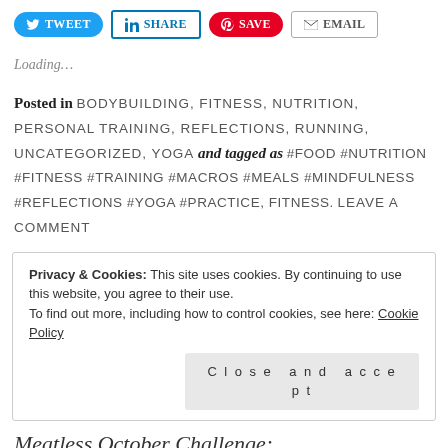[Figure (other): Social share buttons: Tweet (Twitter), SHARE (LinkedIn), Save (Pinterest), Email]
Loading…
Posted in BODYBUILDING, FITNESS, NUTRITION, PERSONAL TRAINING, REFLECTIONS, RUNNING, UNCATEGORIZED, YOGA and tagged as #FOOD #NUTRITION #FITNESS #TRAINING #MACROS #MEALS #MINDFULNESS #REFLECTIONS #YOGA #PRACTICE, FITNESS. LEAVE A COMMENT
Privacy & Cookies: This site uses cookies. By continuing to use this website, you agree to their use.
To find out more, including how to control cookies, see here: Cookie Policy
Close and accept
Meatless October Challenge: